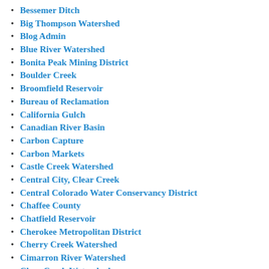Bessemer Ditch
Big Thompson Watershed
Blog Admin
Blue River Watershed
Bonita Peak Mining District
Boulder Creek
Broomfield Reservoir
Bureau of Reclamation
California Gulch
Canadian River Basin
Carbon Capture
Carbon Markets
Castle Creek Watershed
Central City, Clear Creek
Central Colorado Water Conservancy District
Chaffee County
Chatfield Reservoir
Cherokee Metropolitan District
Cherry Creek Watershed
Cimarron River Watershed
Clear Creek Watershed
Climate Change
Cloud seeding
Coal
Coal Creek watershed